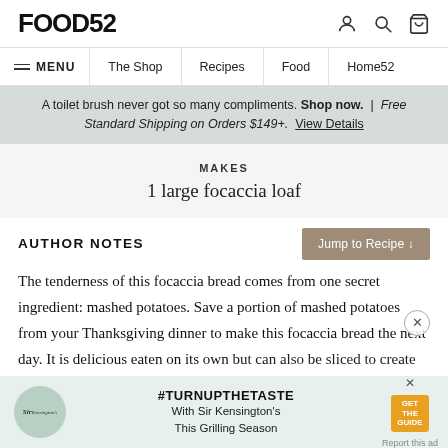FOOD52
MENU | The Shop | Recipes | Food | Home52
A toilet brush never got so many compliments. Shop now. | Free Standard Shipping on Orders $149+. View Details
MAKES
1 large focaccia loaf
AUTHOR NOTES
The tenderness of this focaccia bread comes from one secret ingredient: mashed potatoes. Save a portion of mashed potatoes from your Thanksgiving dinner to make this focaccia bread the next day. It is delicious eaten on its own but can also be sliced to create the perfect turkey sandwich